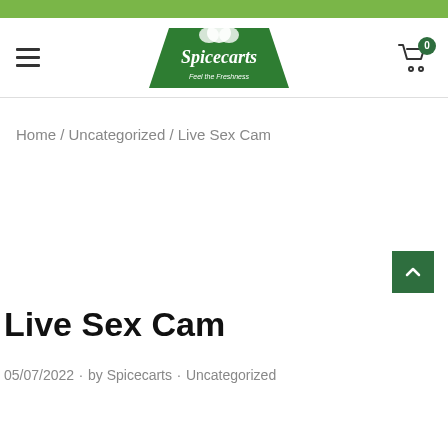[Figure (logo): Spicecarts logo - green trapezoid shape with herb leaf graphic and text 'Spicecarts Feel the Freshness']
Home / Uncategorized / Live Sex Cam
Live Sex Cam
05/07/2022 · by Spicecarts · Uncategorized